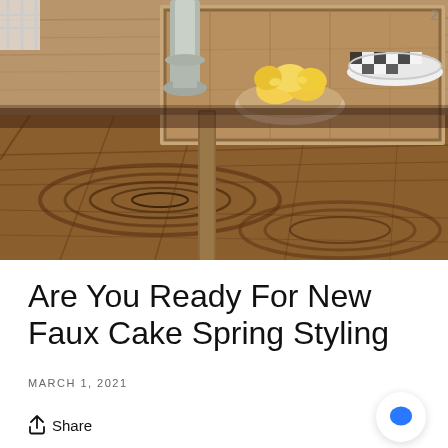[Figure (photo): A rustic wooden coffee table with a reclaimed wood tray holding a bowl of lemons and a stack of black and white checkered plates. The floor is also reclaimed patterned wood with visible grain swirls. A candle holder base is visible. Warm brown tones throughout.]
Are You Ready For New Faux Cake Spring Styling
MARCH 1, 2021
Share